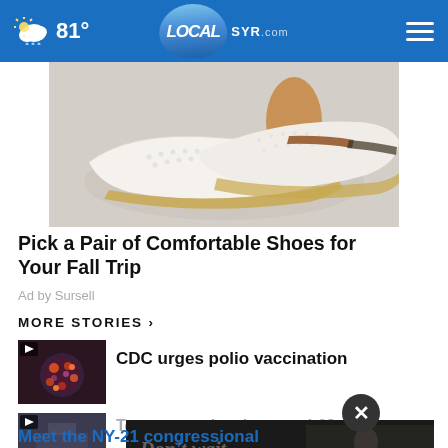81° LOCALsyr.com
[Figure (photo): Close-up photo of white slip-on shoes with decorative studded details and brown stripe, worn on feet]
Pick a Pair of Comfortable Shoes for Your Fall Trip
Ad by Sursell
MORE STORIES ›
[Figure (photo): Thumbnail of poliovirus microscopy image with play button overlay]
CDC urges polio vaccination
[Figure (photo): Thumbnail of highway/road scene]
Temporary slowdown on I-69 near
[Figure (screenshot): Video overlay showing Don't wait. text with person in background]
Meet the NY-21 congressional